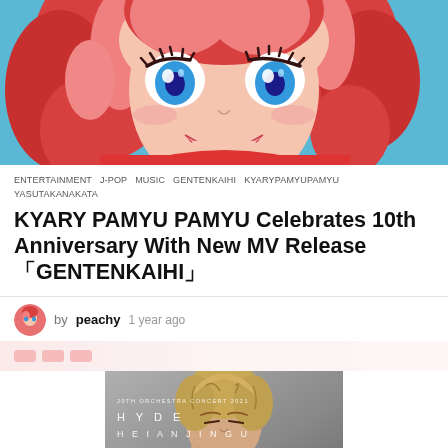[Figure (illustration): Anime-style illustration of a girl with large blue eyes, pink/red curly hair, smiling, wearing a red outfit. Cropped to show face and upper body on a blue background.]
ENTERTAINMENT   J-POP   MUSIC   GENTENKAIHI   KYARYPAMYUPAMYU   YASUTAKANAKATA
KYARY PAMYU PAMYU Celebrates 10th Anniversary With New MV Release 「GENTENKAIHI」
by peachy 1 year ago
[Figure (photo): Promotional photo for HYDE HEIAN JINGU 20th Orchestra Concert 2021. A blonde male artist with tousled hair in a white jacket, chin resting on hand, photographed on a gray background. Text overlay: '20TH ORCHESTRA CONCERT 2021 HYDE HEIAN JINGU']